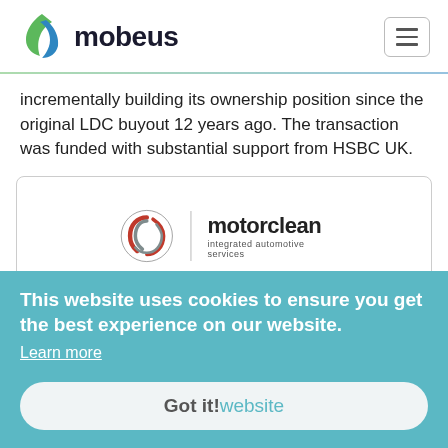[Figure (logo): Mobeus logo with green and blue leaf/arrow icon and 'mobeus' wordmark in dark text]
incrementally building its ownership position since the original LDC buyout 12 years ago. The transaction was funded with substantial support from HSBC UK.
[Figure (logo): Motorclean integrated automotive services logo — circular red/grey swirl icon with vertical divider and 'motorclean / integrated automotive services' text]
This website uses cookies to ensure you get the best experience on our website.
Learn more
Got it!website